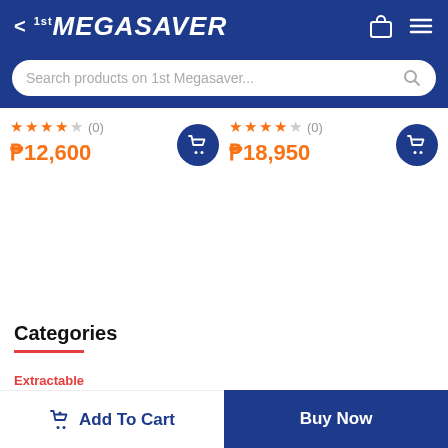1st MEGASAVER
Search products on 1st Megasaver...
★★★★☆ (0) ₱12,600
★★★★☆ (0) ₱18,950
Categories
Add To Cart
Buy Now